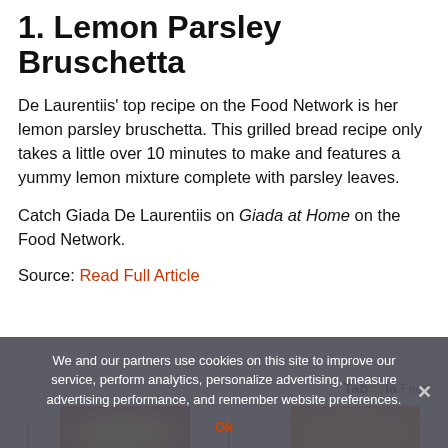1. Lemon Parsley Bruschetta
De Laurentiis' top recipe on the Food Network is her lemon parsley bruschetta. This grilled bread recipe only takes a little over 10 minutes to make and features a yummy lemon mixture complete with parsley leaves.
Catch Giada De Laurentiis on Giada at Home on the Food Network.
Source: Read Full Article
[Figure (screenshot): Taboola Feed logo/label in top right]
[Figure (photo): Two food images partially visible at bottom of page — a red/orange dish on the left and an orange/yellow dish on the right]
We and our partners use cookies on this site to improve our service, perform analytics, personalize advertising, measure advertising performance, and remember website preferences.
Ok